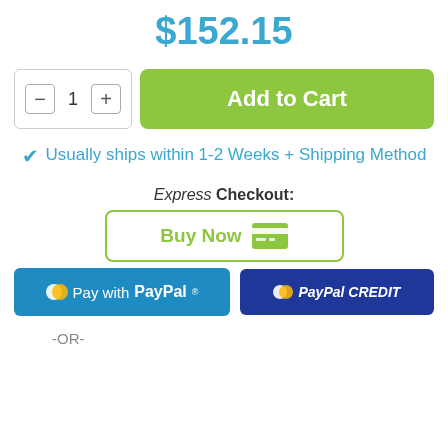$152.15
[Figure (screenshot): Quantity selector with minus and plus buttons showing 1, and a green Add to Cart button]
✔ Usually ships within 1-2 Weeks + Shipping Method
Express Checkout:
[Figure (screenshot): Buy Now button with card icon, green border]
[Figure (screenshot): Pay with PayPal button and PayPal CREDIT button side by side]
-OR-